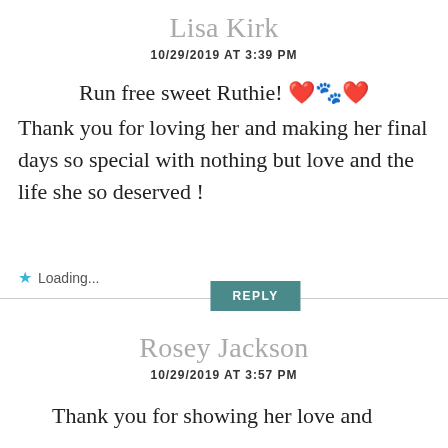Lisa Kirk
10/29/2019 AT 3:39 PM
Run free sweet Ruthie! ❤️🐾❤️
Thank you for loving her and making her final days so special with nothing but love and the life she so deserved !
★ Loading...
REPLY
Rosey Jackson
10/29/2019 AT 3:57 PM
Thank you for showing her love and